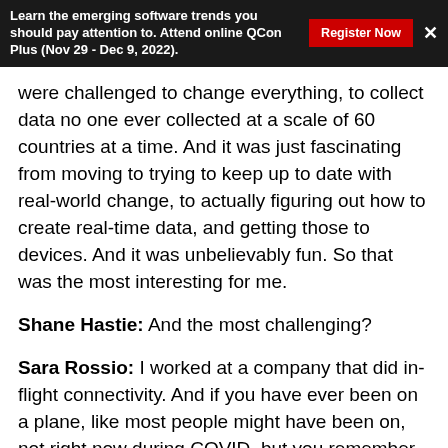Learn the emerging software trends you should pay attention to. Attend online QCon Plus (Nov 29 - Dec 9, 2022). Register Now ×
were challenged to change everything, to collect data no one ever collected at a scale of 60 countries at a time. And it was just fascinating from moving to trying to keep up to date with real-world change, to actually figuring out how to create real-time data, and getting those to devices. And it was unbelievably fun. So that was the most interesting for me.
Shane Hastie: And the most challenging?
Sara Rossio: I worked at a company that did in-flight connectivity. And if you have ever been on a plane, like most people might have been on, not right now during COVID, but you remember when you actually got onto wifi and it didn't feel like you